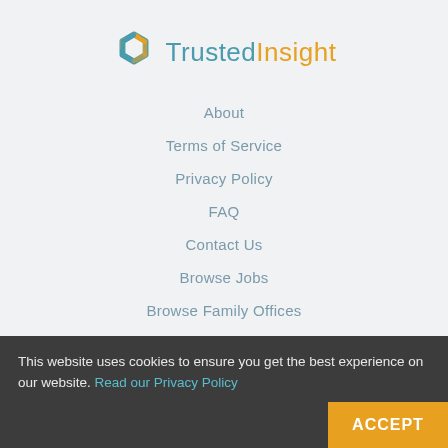[Figure (logo): TrustedInsight logo with hexagonal icon in teal/gold and wordmark]
About
Terms of Service
Privacy Policy
FAQ
Contact Us
Browse Jobs
Browse Family Offices
RSS
This website uses cookies to ensure you get the best experience on our website. Read our Privacy Policy
ACCEPT